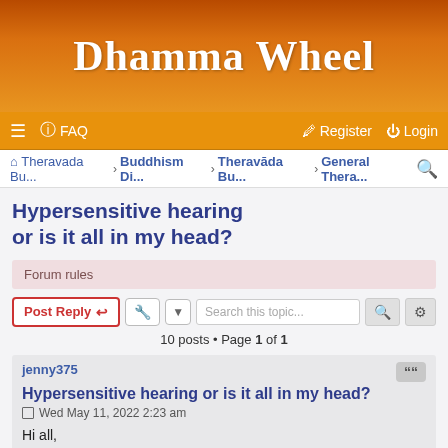Dhamma Wheel
≡  FAQ  Register  Login
Theravada Bu... › Buddhism Di... › Theravāda Bu... › General Thera...
Hypersensitive hearing or is it all in my head?
Forum rules
Post Reply   [tools]   Search this topic...   10 posts • Page 1 of 1
jenny375
Hypersensitive hearing or is it all in my head?
Wed May 11, 2022 2:23 am
Hi all,
After my second vipassana retreat I started feeling pressure in my head...